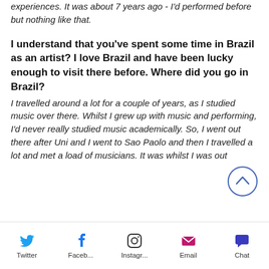experiences. It was about 7 years ago - I'd performed before but nothing like that.
I understand that you've spent some time in Brazil as an artist? I love Brazil and have been lucky enough to visit there before. Where did you go in Brazil?
I travelled around a lot for a couple of years, as I studied music over there. Whilst I grew up with music and performing, I'd never really studied music academically. So, I went out there after Uni and I went to Sao Paolo and then I travelled a lot and met a load of musicians. It was whilst I was out
Twitter  Faceb...  Instagr...  Email  Chat